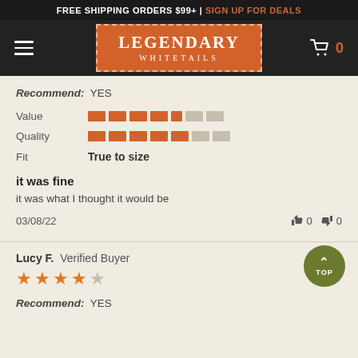FREE SHIPPING ORDERS $99+ | SIGN UP FOR DEALS
[Figure (logo): Legendary Whitetails logo in orange box with dashed border]
Recommend: YES
[Figure (infographic): Rating bars for Value and Quality (approx 4/5 segments filled in orange), Fit: True to size]
it was fine
it was what I thought it would be
03/08/22   👍 0   👎 0
Lucy F.  Verified Buyer
[Figure (infographic): 4 orange stars rating]
Recommend: YES